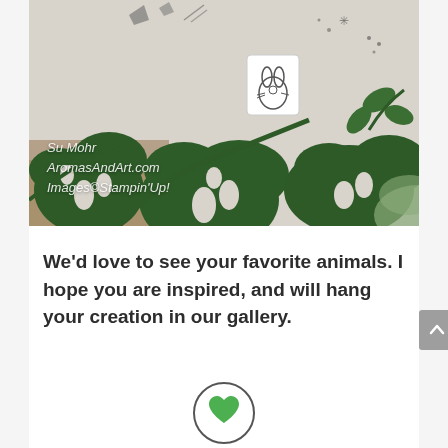[Figure (photo): Craft/stamping photo showing dark green leaf die-cuts and a small bunny stamp on a light background, with watermark text 'Su Mohr / AromasAndArt.com / Images©Stampin'Up!']
We'd love to see your favorite animals. I hope you are inspired, and will hang your creation in our gallery.
[Figure (illustration): Partial circular icon with a green heart, cut off at bottom of page]